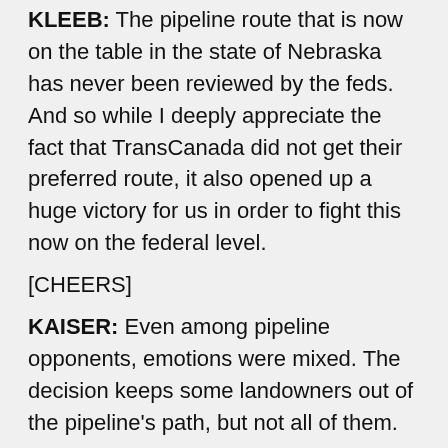KLEEB: The pipeline route that is now on the table in the state of Nebraska has never been reviewed by the feds. And so while I deeply appreciate the fact that TransCanada did not get their preferred route, it also opened up a huge victory for us in order to fight this now on the federal level.
[CHEERS]
KAISER: Even among pipeline opponents, emotions were mixed. The decision keeps some landowners out of the pipeline's path, but not all of them.
TANDERUP: My name is Art Tanderup. Helen and I are landowners on the route. We're disappointed today. Sorry, um, you know, we've got this foreign corporation coming in and stealing our land. We know it's not over. We're going to fight until the end, but I —